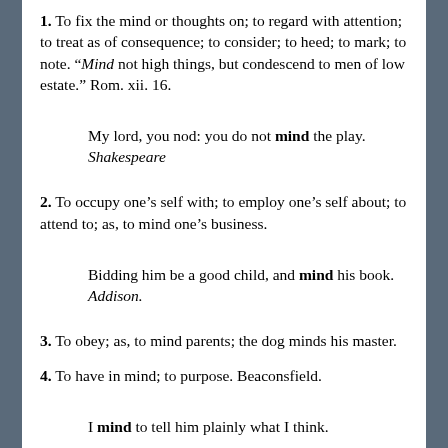1. To fix the mind or thoughts on; to regard with attention; to treat as of consequence; to consider; to heed; to mark; to note. “Mind not high things, but condescend to men of low estate.” Rom. xii. 16.
My lord, you nod: you do not mind the play. Shakespeare
2. To occupy one's self with; to employ one's self about; to attend to; as, to mind one's business.
Bidding him be a good child, and mind his book. Addison.
3. To obey; as, to mind parents; the dog minds his master.
4. To have in mind; to purpose. Beaconsfield.
I mind to tell him plainly what I think.